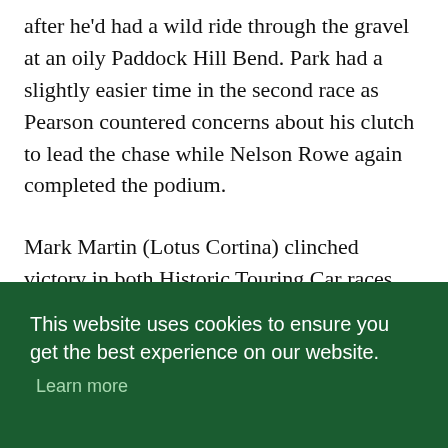after he'd had a wild ride through the gravel at an oily Paddock Hill Bend. Park had a slightly easier time in the second race as Pearson countered concerns about his clutch to lead the chase while Nelson Rowe again completed the podium.
Mark Martin (Lotus Cortina) clinched victory in both Historic Touring Car races but left it late in the second race after passing Richard Belcher at Clearways on
This website uses cookies to ensure you get the best experience on our website.
Learn more
I ACCEPT
battles rages all the way down the pack